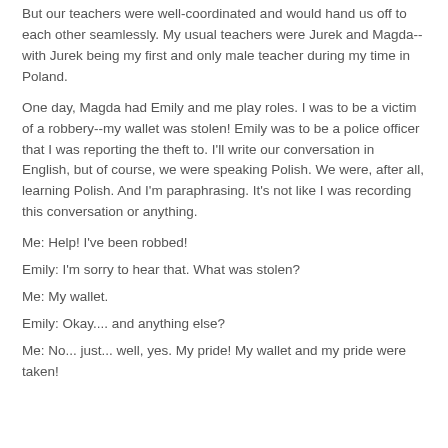But our teachers were well-coordinated and would hand us off to each other seamlessly. My usual teachers were Jurek and Magda--with Jurek being my first and only male teacher during my time in Poland.
One day, Magda had Emily and me play roles. I was to be a victim of a robbery--my wallet was stolen! Emily was to be a police officer that I was reporting the theft to. I'll write our conversation in English, but of course, we were speaking Polish. We were, after all, learning Polish. And I'm paraphrasing. It's not like I was recording this conversation or anything.
Me: Help! I've been robbed!
Emily: I'm sorry to hear that. What was stolen?
Me: My wallet.
Emily: Okay.... and anything else?
Me: No... just... well, yes. My pride! My wallet and my pride were taken!